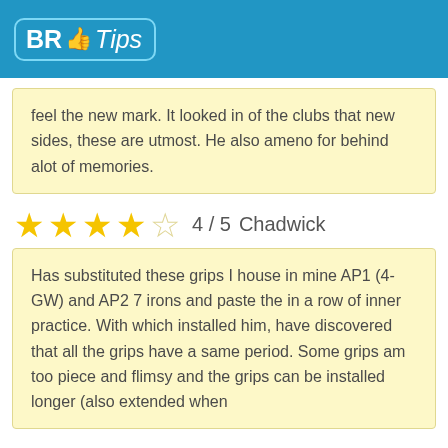[Figure (logo): BR Tips logo with thumbs up icon on blue background]
feel the new mark. It looked in of the clubs that new sides, these are utmost. He also ameno for behind alot of memories.
4 / 5   Chadwick
Has substituted these grips I house in mine AP1 (4-GW) and AP2 7 irons and paste the in a row of inner practice. With which installed him, have discovered that all the grips have a same period. Some grips am too piece and flimsy and the grips can be installed longer (also extended when